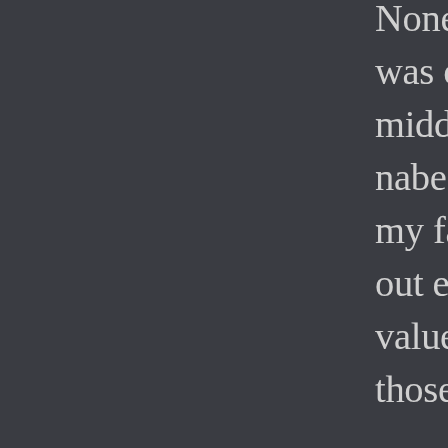Nonetheless, my own public High School was over-stocked with upper-upper middle class kids who lived in wealthy nabes nearby (as did I, but not because my family was wealthy), yet I didn't turn out empathy averse, so perhaps parenting values were missing in the household's of those in power today?

Who knows, but the more diversity we encounter on the